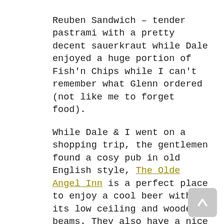Reuben Sandwich – tender pastrami with a pretty decent sauerkraut while Dale enjoyed a huge portion of Fish'n Chips while I can't remember what Glenn ordered (not like me to forget food).
While Dale & I went on a shopping trip, the gentlemen found a cosy pub in old English style, The Olde Angel Inn is a perfect place to enjoy a cool beer with its low ceiling and wooden beams. They also have a nice food menu but we were too stuffed to even look at it.
Canada has never been a country I associated with wine. But a visit to the Reid Estate vineyard taught me differently. Founded only in 1982 (it has a much older feel to it) by Klaus Reif who stems from a German wine family, the estate has grown to a beautiful place where wine is taken seriously. I always feel suspcious when a winemaker produces too many different wines but all the wines I tasted were excellent. Apparently, Canada is famous for its Ice Wines (I always thought it was Germany and Austria) and